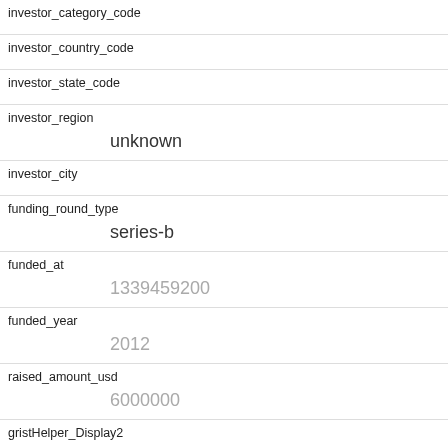| investor_category_code |  |
| investor_country_code |  |
| investor_state_code |  |
| investor_region | unknown |
| investor_city |  |
| funding_round_type | series-b |
| funded_at | 1339459200 |
| funded_year | 2012 |
| raised_amount_usd | 6000000 |
| gristHelper_Display2 | /company/dramafever |
| Company_category_code |  |